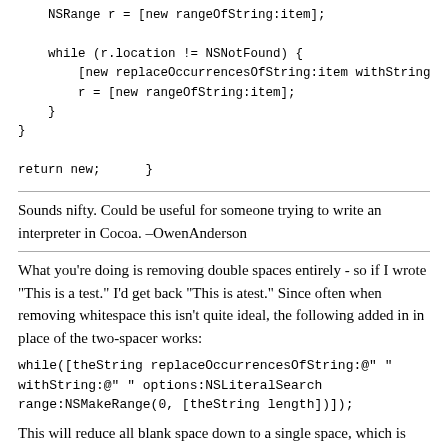NSRange r = [new rangeOfString:item];

    while (r.location != NSNotFound) {
        [new replaceOccurrencesOfString:item withString:@
        r = [new rangeOfString:item];
    }
}

return new;    }
Sounds nifty. Could be useful for someone trying to write an interpreter in Cocoa. –OwenAnderson
What you're doing is removing double spaces entirely - so if I wrote “This is a test.” I’d get back “This is atest.” Since often when removing whitespace this isn’t quite ideal, the following added in in place of the two-spacer works:
while([theString replaceOccurrencesOfString:@” ” withString:@” ” options:NSLiteralSearch range:NSMakeRange(0, [theString length])]);
This will reduce all blank space down to a single space, which is often more what is wanted. Hope this helps –DanKeen